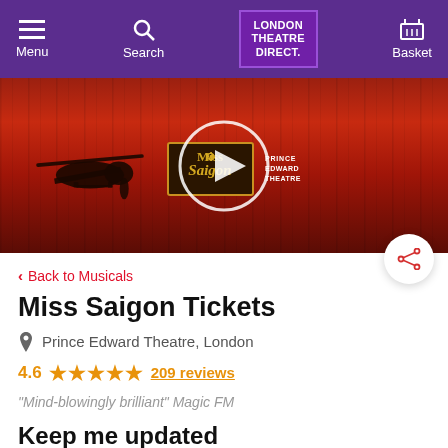Menu | Search | London Theatre Direct | Basket
[Figure (screenshot): Miss Saigon promotional banner with dark red wooden background, helicopter silhouette, Miss Saigon logo with Prince Edward Theatre text, and a circular play button overlay]
< Back to Musicals
Miss Saigon Tickets
Prince Edward Theatre, London
4.6 ★★★★★ 209 reviews
"Mind-blowingly brilliant" Magic FM
Keep me updated
We'll tell you as soon as tickets go on sale: